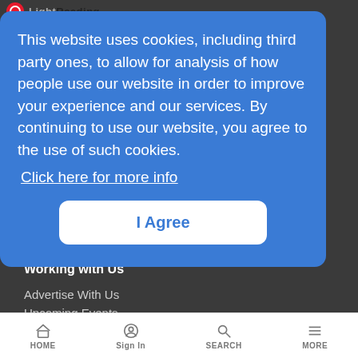LightReading
This website uses cookies, including third party ones, to allow for analysis of how people use our website in order to improve your experience and our services. By continuing to use our website, you agree to the use of such cookies.
Click here for more info
I Agree
Working with Us
Advertise With Us
Upcoming Events
Editorial Reprints
HOME  Sign In  SEARCH  MORE